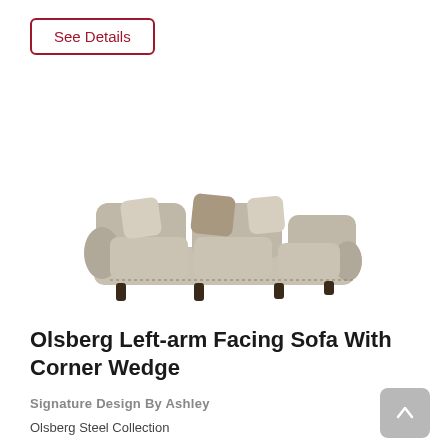See Details
[Figure (photo): Photo of an Olsberg Left-arm Facing Sofa With Corner Wedge in steel/gray fabric upholstery with rolled arms and decorative pillows.]
Olsberg Left-arm Facing Sofa With Corner Wedge
Signature Design By Ashley
Olsberg Steel Collection